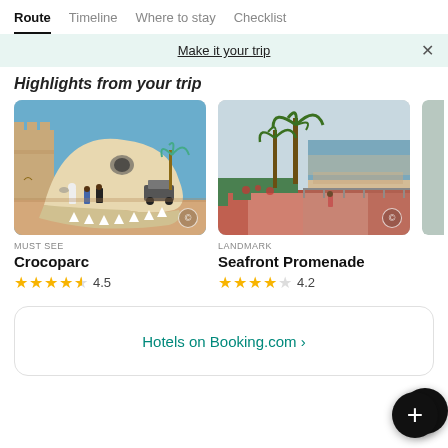Route | Timeline | Where to stay | Checklist
Make it your trip  ×
Highlights from your trip
[Figure (photo): Crocoparc: large crocodile skull sculpture at entrance with people and castle walls in background]
MUST SEE
Crocoparc
★★★★½ 4.5
[Figure (photo): Seafront Promenade: coastal promenade with palm trees, beach and sea in background]
LANDMARK
Seafront Promenade
★★★★☆ 4.2
Hotels on Booking.com ›